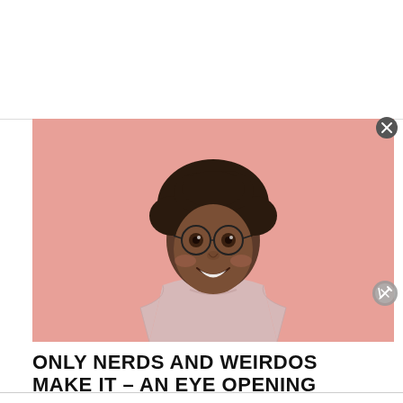[Figure (photo): A smiling young Black woman with natural curly hair and round glasses, wearing a light pink t-shirt, posed against a pink/salmon background.]
ONLY NERDS AND WEIRDOS MAKE IT – AN EYE OPENING SPEECH